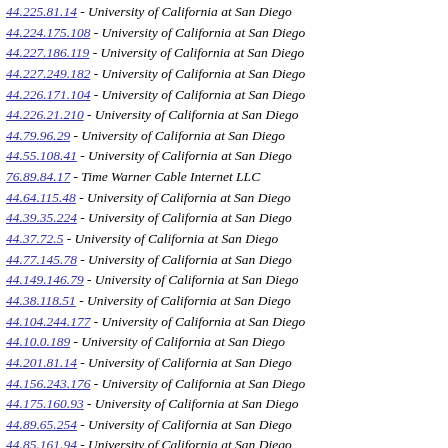44.225.81.14 - University of California at San Diego
44.224.175.108 - University of California at San Diego
44.227.186.119 - University of California at San Diego
44.227.249.182 - University of California at San Diego
44.226.171.104 - University of California at San Diego
44.226.21.210 - University of California at San Diego
44.79.96.29 - University of California at San Diego
44.55.108.41 - University of California at San Diego
76.89.84.17 - Time Warner Cable Internet LLC
44.64.115.48 - University of California at San Diego
44.39.35.224 - University of California at San Diego
44.37.72.5 - University of California at San Diego
44.77.145.78 - University of California at San Diego
44.149.146.79 - University of California at San Diego
44.38.118.51 - University of California at San Diego
44.104.244.177 - University of California at San Diego
44.10.0.189 - University of California at San Diego
44.201.81.14 - University of California at San Diego
44.156.243.176 - University of California at San Diego
44.175.160.93 - University of California at San Diego
44.89.65.254 - University of California at San Diego
44.85.161.94 - University of California at San Diego
44.248.51.240 - University of California at San Diego
44.10.5.194 - University of California at San Diego
44.156.98.31 - University of California at San Diego
44.77.17.206 - University of California at San Diego
44.82.218.151 - University of California at San Diego
44.1.115.48 - University of California at San Diego
44.56.65.254 - University of California at San Diego
44.217.41.230 - University of California at San Diego